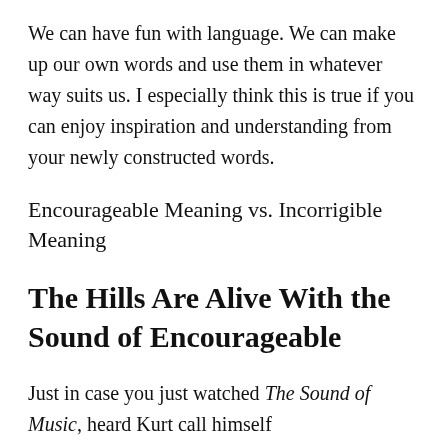We can have fun with language. We can make up our own words and use them in whatever way suits us. I especially think this is true if you can enjoy inspiration and understanding from your newly constructed words.
Encourageable Meaning vs. Incorrigible Meaning
The Hills Are Alive With the Sound of Encourageable
Just in case you just watched The Sound of Music, heard Kurt call himself